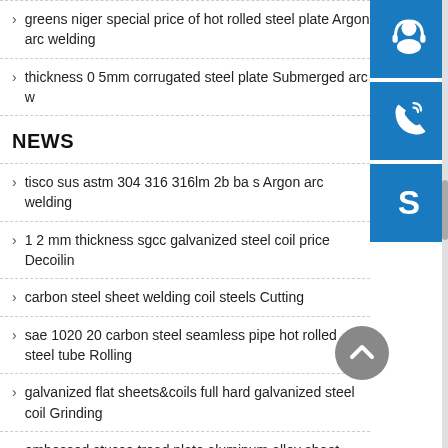greens niger special price of hot rolled steel plate Argon arc welding
thickness 0 5mm corrugated steel plate Submerged arc w…
NEWS
tisco sus astm 304 316 316lm 2b ba s Argon arc welding
1 2 mm thickness sgcc galvanized steel coil price Decoilin…
carbon steel sheet welding coil steels Cutting
sae 1020 20 carbon steel seamless pipe hot rolled steel tube Rolling
galvanized flat sheets&coils full hard galvanized steel coil Grinding
embossed stucco tread plate aluminum alloy sheet a575 h114…
[Figure (infographic): Three blue icon buttons on right sidebar: headset/customer support icon, telephone/call icon, Skype icon]